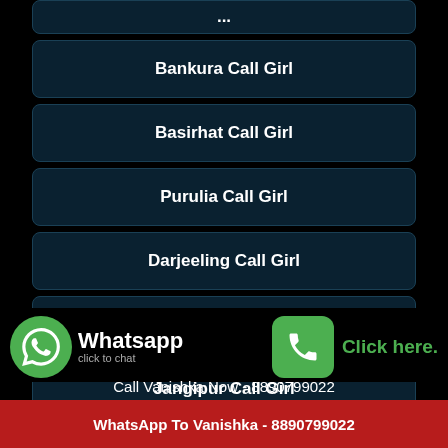Bankura Call Girl
Basirhat Call Girl
Purulia Call Girl
Darjeeling Call Girl
Alipurduar Call Girl
Jangipur Call Girl
Chakdaha Call Girl
[Figure (infographic): WhatsApp click to chat button with green WhatsApp logo on left, and green phone button with 'Click here.' text on right]
Call Vanishka Now - 8890799022
WhatsApp To Vanishka - 8890799022